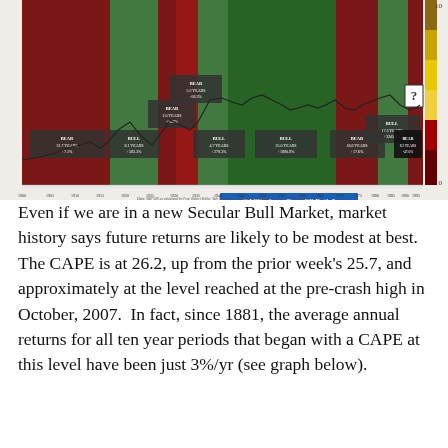[Figure (continuous-plot): Historical chart showing Secular Bull and Bear Markets with CAPE Long-Term PE Ratio from 1900 to 2015. The chart features colored background bands alternating between dark red (bear markets) and green (bull markets), with annotations for each period showing duration and returns. A line chart overlays the CAPE ratio. Key labeled periods include: BEAR 31.7 YEARS +7.1%, BULL 8.1 YEARS +583.3%, BEAR 2.0 YEARS -26.8%, BEAR 5.2 YEARS -56.3%, BULL 4.7 YEARS +279.3%, BULL 25.0 YEARS +1890.9%, BEAR 16.6 YEARS +17.6%, BULL 17.3 YEARS +3205.4%, BEAR 8.3 YEARS -47.0%. The CAPE line shows peaks and troughs marked with red and green circles. A question mark box appears at far right. Right side has a colored bar scale from dark to yellow. X-axis shows years 1900-2015, right Y-axis shows values 0-10 (top) and 0-50 (bottom). Data source note at bottom.]
Even if we are in a new Secular Bull Market, market history says future returns are likely to be modest at best.   The CAPE is at 26.2, up from the prior week’s 25.7, and approximately at the level reached at the pre-crash high in October, 2007.  In fact, since 1881, the average annual returns for all ten year periods that began with a CAPE at this level have been just 3%/yr (see graph below).